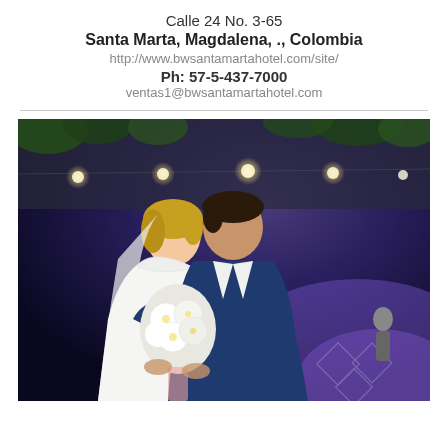Calle 24 No. 3-65
Santa Marta, Magdalena, ., Colombia
http://www.bwsantamartahotel.com/site/
Ph: 57-5-437-7000
ventas1@bwsantamartahotel.com
[Figure (photo): Wedding couple photo: bride in white lace dress with veil holding white flower bouquet, groom in blue suit, outdoors at night with string lights and greenery in background, purple/blue ambient lighting]